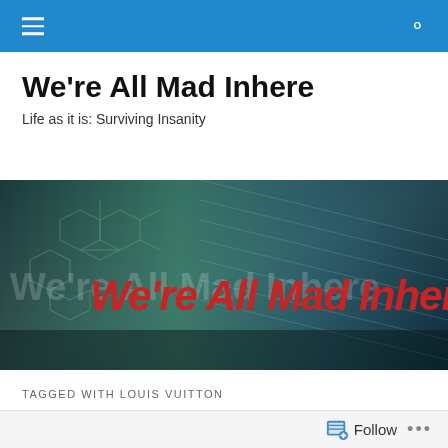Navigation bar with menu icon and search icon
We're All Mad Inhere
Life as it is: Surviving Insanity
[Figure (illustration): Blog banner image with teal/dark background and chemical structure diagrams, with text 'We're All Mad Inhere' displayed in large red and semi-transparent white letters]
TAGGED WITH LOUIS VUITTON
Blocked Bags And Checkers: Louis Vuitton SS 2013
Follow